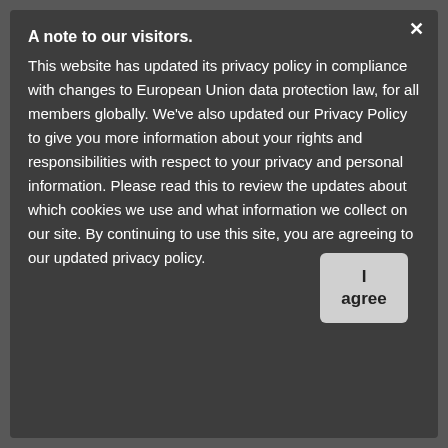A note to our visitors.
This website has updated its privacy policy in compliance with changes to European Union data protection law, for all members globally. We've also updated our Privacy Policy to give you more information about your rights and responsibilities with respect to your privacy and personal information. Please read this to review the updates about which cookies we use and what information we collect on our site. By continuing to use this site, you are agreeing to our updated privacy policy.